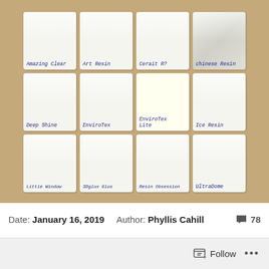[Figure (photo): Photo of 12 white ceramic tiles arranged in a 4x3 grid on a brown/tan background. Each tile has a handwritten label in dark blue ink identifying a resin product. Row 1: Amazing Clear, Art Resin, Cerait R? (partially legible), Chinese Resin (in plastic bag). Row 2: Deep Shine, Envirotex, Envirotex Lite (slightly yellow tile), Ice Resin. Row 3: Little Window (blurry), 3Dglux Glos, Resin Obsession, UltraDome.]
Date: January 16, 2019   Author: Phyllis Cahill   💬 78
Follow ···